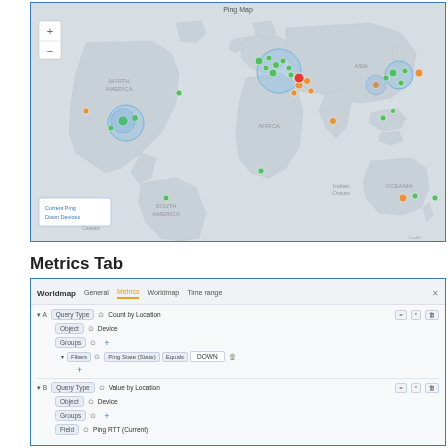[Figure (map): Ping Map - a world map showing network ping locations with colored dots (green, orange, red) representing ping status across North America, South America, Europe, Africa, Asia, and Oceania. Blue circles indicate clusters. A legend shows 'Current Ping Down Devices'. Zoom controls (+/-) are visible in top-left.]
Metrics Tab
[Figure (screenshot): Worldmap panel configuration screenshot showing Metrics tab. Contains two query rows: A - Query Type: Count by Location, Object: Device, Groups: +, Filter: Ping State (State) Equals DOWN (with trash icon). B - Query Type: Value by Location, Object: Device, Groups: +, Field: Ping RTT (Current). Each row has action buttons (=, *, trash) on the right.]